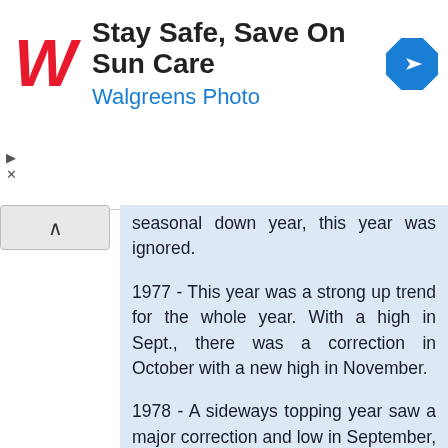[Figure (screenshot): Walgreens advertisement banner: 'Stay Safe, Save On Sun Care' with Walgreens Photo logo and navigation icon]
seasonal down year, this year was ignored.
1977 - This year was a strong up trend for the whole year. With a high in Sept., there was a correction in October with a new high in November.
1978 - A sideways topping year saw a major correction and low in September, allowing a major rally in October. 1979 and 1980 were down years and ignored.